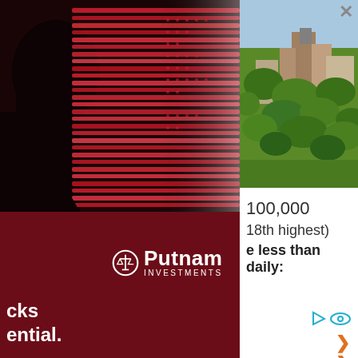[Figure (photo): Putnam Investments advertisement showing a red silhouette of a human head profile with layered red book/data pages, dark red background, white abstract pattern overlay, close X button in top right of ad area. Putnam Investments logo with scales icon in white. Partial ad text: 'cks' and 'ential.']
[Figure (photo): Aerial city/town photo showing buildings, trees, and urban landscape with green foliage and tan/brown buildings]
100,000
18th highest)
e less than daily: